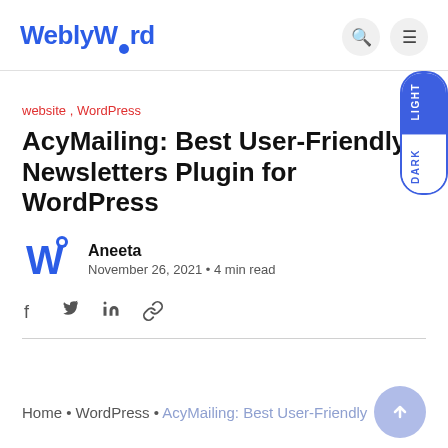WeblyWord
website , WordPress
AcyMailing: Best User-Friendly Newsletters Plugin for WordPress
Aneeta
November 26, 2021 • 4 min read
Home • WordPress • AcyMailing: Best User-Friendly